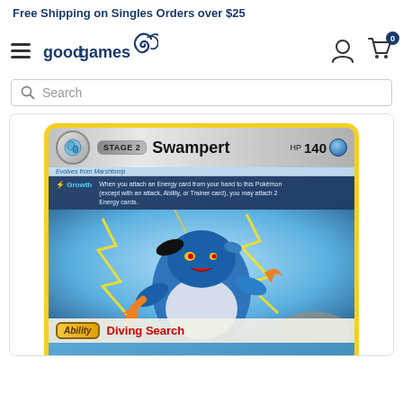Free Shipping on Singles Orders over $25
[Figure (logo): Good Games logo with dragon/serpent graphic]
Search
[Figure (photo): Swampert Pokemon trading card - Stage 2, HP 140, Water type. Evolves from Marshtomp. Ability: Growth - When you attach an Energy card from your hand to this Pokemon (except with an attack, Ability, or Trainer card), you may attach 2 Energy cards. Illustrated with Swampert surrounded by yellow lightning. Bottom shows Ability: Diving Search]